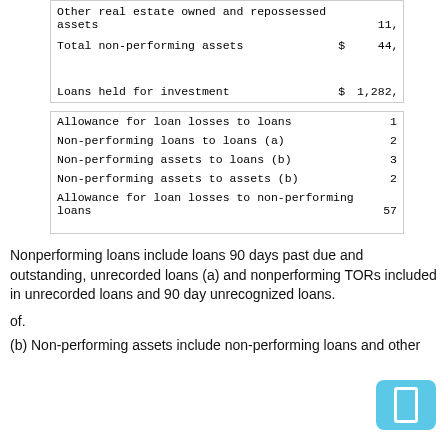|  |  |  |
| --- | --- | --- |
| Other real estate owned and repossessed assets |  | 11, |
| Total non-performing assets | $ | 44, |
| Loans held for investment | $ | 1,282, |
|  |  |
| --- | --- |
| Allowance for loan losses to loans | 1 |
| Non-performing loans to loans (a) | 2 |
| Non-performing assets to loans (b) | 3 |
| Non-performing assets to assets (b) | 2 |
| Allowance for loan losses to non-performing loans | 57 |
Nonperforming loans include loans 90 days past due and outstanding, unrecorded loans (a) and nonperforming TORs included in unrecorded loans and 90 day unrecognized loans.
of.
(b) Non-performing assets include non-performing loans and other